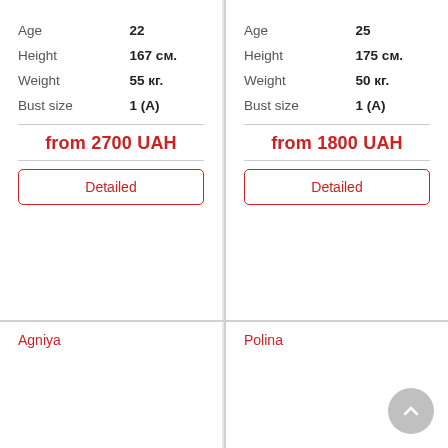| Attribute | Value |
| --- | --- |
| Age | 22 |
| Height | 167 см. |
| Weight | 55 кг. |
| Bust size | 1 (A) |
from 2700 UAH
Detailed
| Attribute | Value |
| --- | --- |
| Age | 25 |
| Height | 175 см. |
| Weight | 50 кг. |
| Bust size | 1 (A) |
from 1800 UAH
Detailed
Agniya
Polina